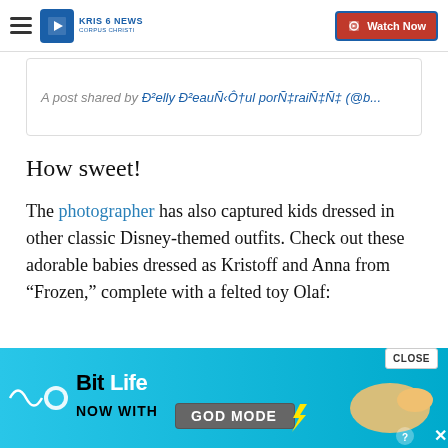KRIS 6 NEWS CORPUS CHRISTI | Watch Now
A post shared by Ð²elly Ð²eauÑ‹Ô†ul porÑ‡raiÑ‡Ñ‡ (@b...
How sweet!
The photographer has also captured kids dressed in other classic Disney-themed outfits. Check out these adorable babies dressed as Kristoff and Anna from “Frozen,” complete with a felted toy Olaf:
[Figure (screenshot): Instagram embed placeholder with avatar circle]
[Figure (screenshot): BitLife advertisement banner - Now with GOD MODE]